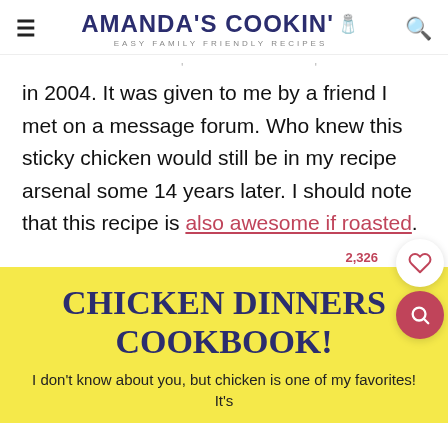AMANDA'S COOKIN' — EASY FAMILY FRIENDLY RECIPES
in 2004. It was given to me by a friend I met on a message forum. Who knew this sticky chicken would still be in my recipe arsenal some 14 years later. I should note that this recipe is also awesome if roasted.
[Figure (other): Yellow promotional card for 'Chicken Dinners Cookbook' with heart save button (2,326 saves) and search button overlay]
CHICKEN DINNERS COOKBOOK!
I don't know about you, but chicken is one of my favorites! It's